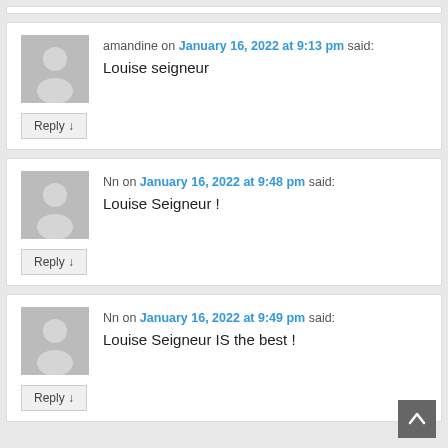amandine on January 16, 2022 at 9:13 pm said: Louise seigneur
Reply
Nn on January 16, 2022 at 9:48 pm said: Louise Seigneur !
Reply
Nn on January 16, 2022 at 9:49 pm said: Louise Seigneur IS the best !
Reply